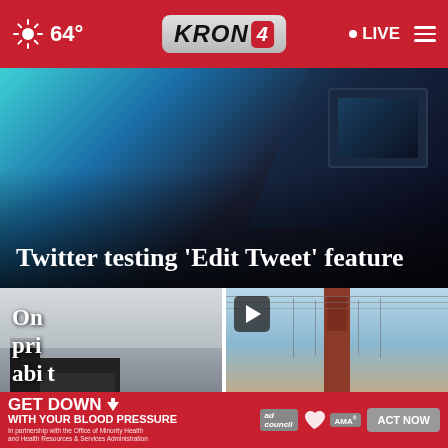KRON 4 — 64° — LIVE
[Figure (screenshot): KRON 4 news website header with red background, sun/weather icon showing 64°, KRON4 logo in center, LIVE button and hamburger menu on right]
[Figure (photo): Hero news story image with blue/teal studio background and text overlay: Twitter testing 'Edit Tweet' feature]
Twitter testing ‘Edit Tweet’ feature
[Figure (photo): Black and white photo of a building (left thumbnail)]
[Figure (photo): Color photo of Golden Gate Bridge tower with play button overlay (right thumbnail)]
On pri abi
[Figure (screenshot): Red advertisement banner: GET DOWN WITH YOUR BLOOD PRESSURE — In partnership with the Office of Minority Health and Health Resources & Services Administration — ACT NOW — ad council, American Heart Association, AMA logos]